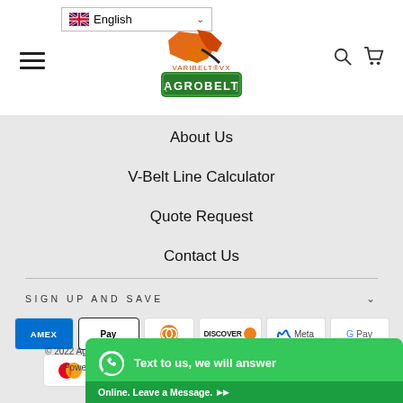English [Language selector]
[Figure (logo): Varibelt VX / Agrobelt logo — orange-red geometric mark above green rectangular badge with 'AGROBELT' text]
About Us
V-Belt Line Calculator
Quote Request
Contact Us
SIGN UP AND SAVE
[Figure (other): Payment method badges: American Express, Apple Pay, Diners Club, Discover, Meta Pay, Google Pay, Mastercard, PayPal, Shop Pay, Venmo, Visa]
© 2022 Agrobelt Sta...
Powered b...